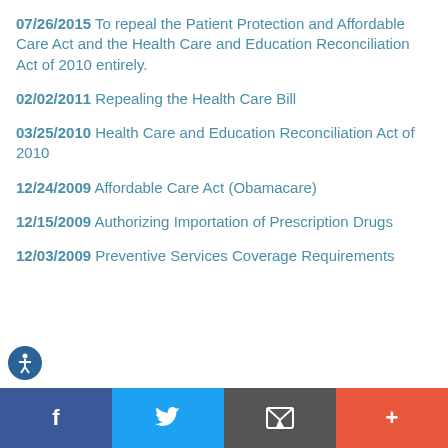07/26/2015 To repeal the Patient Protection and Affordable Care Act and the Health Care and Education Reconciliation Act of 2010 entirely.
02/02/2011 Repealing the Health Care Bill
03/25/2010 Health Care and Education Reconciliation Act of 2010
12/24/2009 Affordable Care Act (Obamacare)
12/15/2009 Authorizing Importation of Prescription Drugs
12/03/2009 Preventive Services Coverage Requirements
f  [Twitter]  [Email]  +